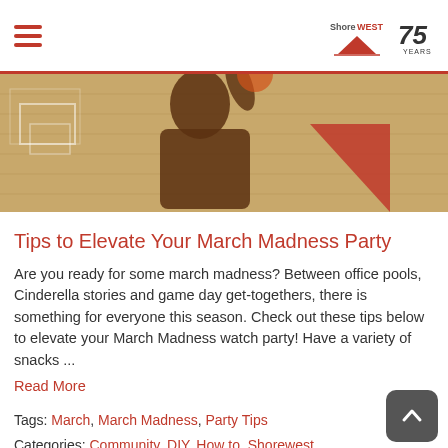Shorewest 75 Years
[Figure (photo): Basketball player mid-action on a hardwood court with bracket overlay graphics and a red triangle shape]
Tips to Elevate Your March Madness Party
Are you ready for some march madness? Between office pools, Cinderella stories and game day get-togethers, there is something for everyone this season. Check out these tips below to elevate your March Madness watch party! Have a variety of snacks ...
Read More
Tags: March, March Madness, Party Tips
Categories: Community, DIY, How to, Shorewest